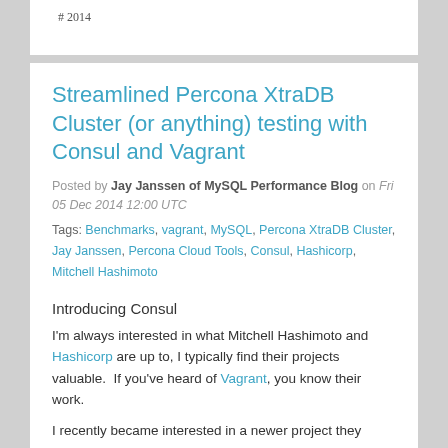# 2014
Streamlined Percona XtraDB Cluster (or anything) testing with Consul and Vagrant
Posted by Jay Janssen of MySQL Performance Blog on Fri 05 Dec 2014 12:00 UTC
Tags: Benchmarks, vagrant, MySQL, Percona XtraDB Cluster, Jay Janssen, Percona Cloud Tools, Consul, Hashicorp, Mitchell Hashimoto
Introducing Consul
I'm always interested in what Mitchell Hashimoto and Hashicorp are up to, I typically find their projects valuable.  If you've heard of Vagrant, you know their work.
I recently became interested in a newer project they